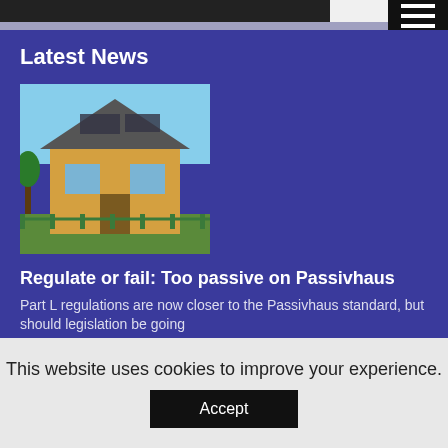Latest News
[Figure (photo): A Passivhaus-style house with solar panels on the roof, surrounded by young trees and a green metal fence]
Regulate or fail: Too passive on Passivhaus
Part L regulations are now closer to the Passivhaus standard, but should legislation be going
[Figure (photo): A person sitting at a desk working on a computer in an office with shelving in the background]
This website uses cookies to improve your experience.